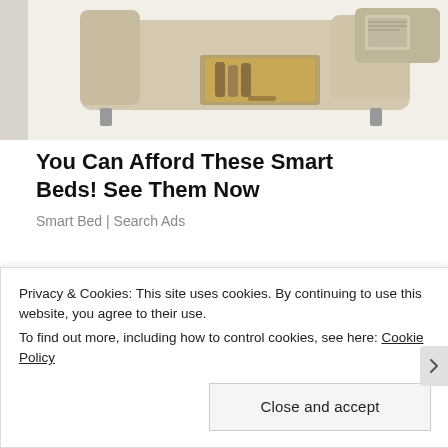[Figure (photo): Photo of a luxury smart bed with built-in storage drawers open, beige/cream leather upholstery, displayed against white background. Partially cropped at top.]
You Can Afford These Smart Beds! See Them Now
Smart Bed | Search Ads
[Figure (other): Three loading dots of decreasing size (two large dark circles, one smaller dark circle) indicating loading content]
Share the Love:
Privacy & Cookies: This site uses cookies. By continuing to use this website, you agree to their use.
To find out more, including how to control cookies, see here: Cookie Policy
Close and accept